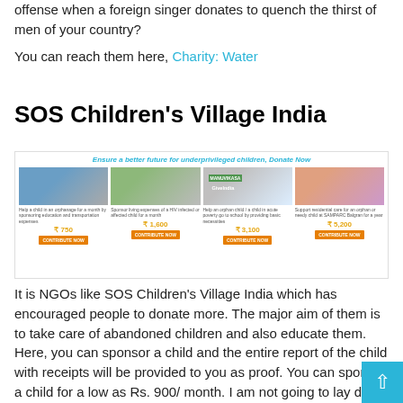offense when a foreign singer donates to quench the thirst of men of your country?
You can reach them here, Charity: Water
SOS Children's Village India
[Figure (screenshot): SOS Children's Village India donation widget showing four giving options: Help a child in an orphanage for a month (₹750), Sponsor living expenses of a HIV infected or affected child for a month (₹1,600), Help an orphan child in acute poverty go to school by providing basic necessities (₹3,100), Support residential care for an orphan or needy child at SAMPARC Balgran for a year (₹5,200). Each option has a CONTRIBUTE NOW button. Tagline: Ensure a better future for underprivileged children, Donate Now]
It is NGOs like SOS Children's Village India which has encouraged people to donate more. The major aim of them is to take care of abandoned children and also educate them. Here, you can sponsor a child and the entire report of the child with receipts will be provided to you as proof. You can sponsor a child for a low as Rs. 900/ month. I am not going to lay down